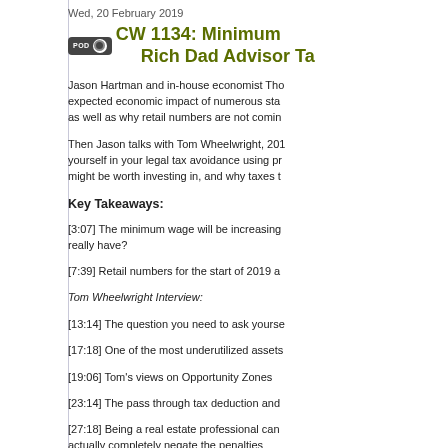Wed, 20 February 2019
CW 1134: Minimum... Rich Dad Advisor Ta...
Jason Hartman and in-house economist Tho... expected economic impact of numerous sta... as well as why retail numbers are not comin...
Then Jason talks with Tom Wheelwright, 201... yourself in your legal tax avoidance using pr... might be worth investing in, and why taxes t...
Key Takeaways:
[3:07] The minimum wage will be increasing... really have?
[7:39] Retail numbers for the start of 2019 a...
Tom Wheelwright Interview:
[13:14] The question you need to ask yourse...
[17:18] One of the most underutilized assets...
[19:06] Tom's views on Opportunity Zones
[23:14] The pass through tax deduction and...
[27:18] Being a real estate professional can... actually completely negate the penalties
[30:25] You tend to lose a lot of deductions w...
[31:59] The 2 challenges with Roth IRAs wh...